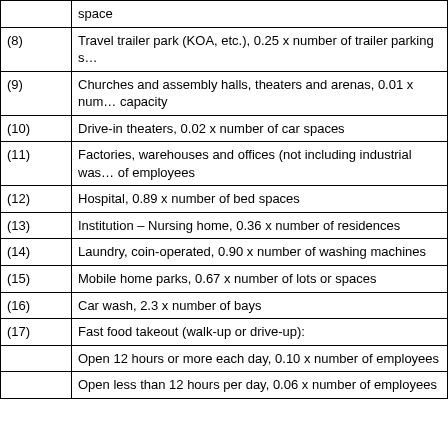|  | space |
| (8) | Travel trailer park (KOA, etc.), 0.25 x number of trailer parking s... |
| (9) | Churches and assembly halls, theaters and arenas, 0.01 x num... capacity |
| (10) | Drive-in theaters, 0.02 x number of car spaces |
| (11) | Factories, warehouses and offices (not including industrial was... of employees |
| (12) | Hospital, 0.89 x number of bed spaces |
| (13) | Institution – Nursing home, 0.36 x number of residences |
| (14) | Laundry, coin-operated, 0.90 x number of washing machines |
| (15) | Mobile home parks, 0.67 x number of lots or spaces |
| (16) | Car wash, 2.3 x number of bays |
| (17) | Fast food takeout (walk-up or drive-up): |
|  | Open 12 hours or more each day, 0.10 x number of employees |
|  | Open less than 12 hours per day, 0.06 x number of employees |